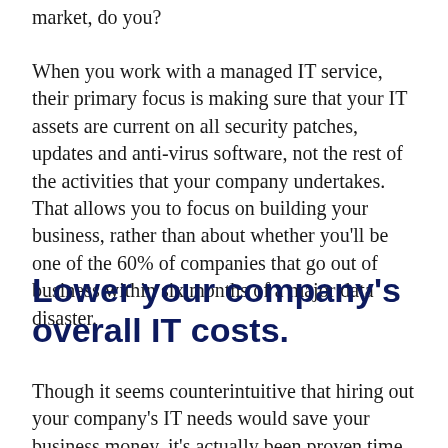market, do you?
When you work with a managed IT service, their primary focus is making sure that your IT assets are current on all security patches, updates and anti-virus software, not the rest of the activities that your company undertakes. That allows you to focus on building your business, rather than about whether you'll be one of the 60% of companies that go out of business within six months of a major data disaster.
Lower your company's overall IT costs.
Though it seems counterintuitive that hiring out your company's IT needs would save your business money, it's actually been proven time and again. If